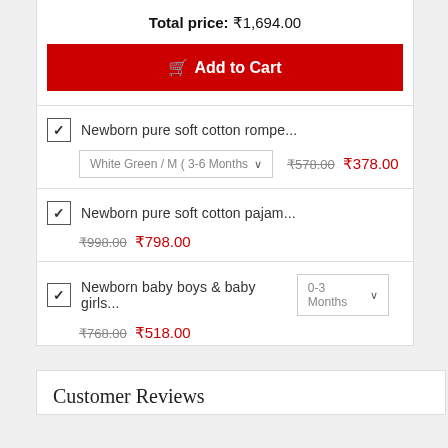Total price: ₹1,694.00
Add to Cart
Newborn pure soft cotton rompe...  White Green / M ( 3-6 Months   ₹578.00  ₹378.00
Newborn pure soft cotton pajam...  ₹998.00  ₹798.00
Newborn baby boys & baby girls...  0-3 Months   ₹768.00  ₹518.00
Customer Reviews